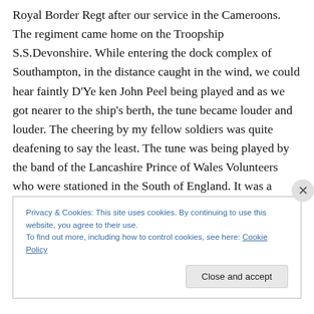Royal Border Regt after our service in the Cameroons. The regiment came home on the Troopship S.S.Devonshire. While entering the dock complex of Southampton, in the distance caught in the wind, we could hear faintly D'Ye ken John Peel being played and as we got nearer to the ship's berth, the tune became louder and louder. The cheering by my fellow soldiers was quite deafening to say the least. The tune was being played by the band of the Lancashire Prince of Wales Volunteers who were stationed in the South of England. It was a moment in my life that will be with me until the day I die.
Privacy & Cookies: This site uses cookies. By continuing to use this website, you agree to their use.
To find out more, including how to control cookies, see here: Cookie Policy